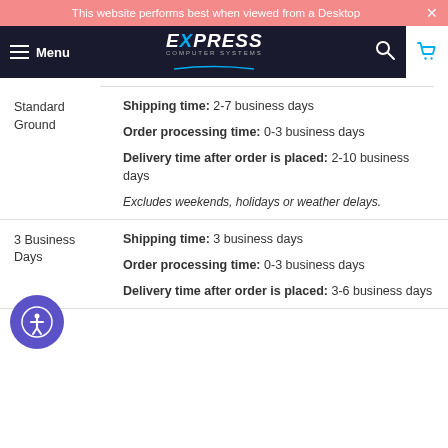This website performs best when viewed from a Desktop
EXPRESS COMPUTER SYSTEMS — Menu / Nav
| Shipping Method | Details |
| --- | --- |
| Standard Ground | Shipping time: 2-7 business days
Order processing time: 0-3 business days
Delivery time after order is placed: 2-10 business days
Excludes weekends, holidays or weather delays. |
| 3 Business Days | Shipping time: 3 business days
Order processing time: 0-3 business days
Delivery time after order is placed: 3-6 business days |